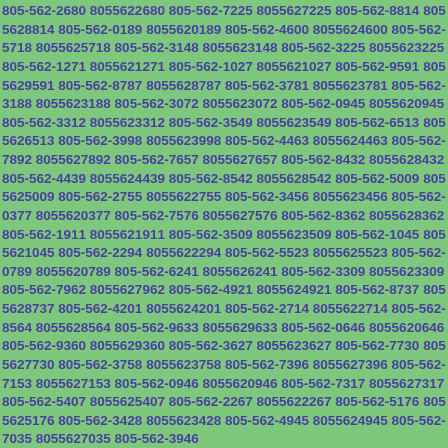805-562-2680 8055622680 805-562-7225 8055627225 805-562-8814 8055628814 805-562-0189 8055620189 805-562-4600 8055624600 805-562-5718 8055625718 805-562-3148 8055623148 805-562-3225 8055623225 805-562-1271 8055621271 805-562-1027 8055621027 805-562-9591 8055629591 805-562-8787 8055628787 805-562-3781 8055623781 805-562-3188 8055623188 805-562-3072 8055623072 805-562-0945 8055620945 805-562-3312 8055623312 805-562-3549 8055623549 805-562-6513 8055626513 805-562-3998 8055623998 805-562-4463 8055624463 805-562-7892 8055627892 805-562-7657 8055627657 805-562-8432 8055628432 805-562-4439 8055624439 805-562-8542 8055628542 805-562-5009 8055625009 805-562-2755 8055622755 805-562-3456 8055623456 805-562-0377 8055620377 805-562-7576 8055627576 805-562-8362 8055628362 805-562-1911 8055621911 805-562-3509 8055623509 805-562-1045 8055621045 805-562-2294 8055622294 805-562-5523 8055625523 805-562-0789 8055620789 805-562-6241 8055626241 805-562-3309 8055623309 805-562-7962 8055627962 805-562-4921 8055624921 805-562-8737 8055628737 805-562-4201 8055624201 805-562-2714 8055622714 805-562-8564 8055628564 805-562-9633 8055629633 805-562-0646 8055620646 805-562-9360 8055629360 805-562-3627 8055623627 805-562-7730 8055627730 805-562-3758 8055623758 805-562-7396 8055627396 805-562-7153 8055627153 805-562-0946 8055620946 805-562-7317 8055627317 805-562-5407 8055625407 805-562-2267 8055622267 805-562-5176 8055625176 805-562-3428 8055623428 805-562-4945 8055624945 805-562-7035 8055627035 805-562-3946